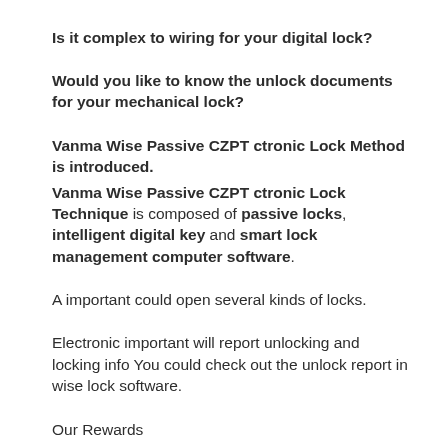Is it complex to wiring for your digital lock?
Would you like to know the unlock documents for your mechanical lock?
Vanma Wise Passive CZPT ctronic Lock Method is introduced.
Vanma Wise Passive CZPT ctronic Lock Technique is composed of passive locks, intelligent digital key and smart lock management computer software.
A important could open several kinds of locks.
Electronic important will report unlocking and locking info You could check out the unlock report in wise lock software.
Our Rewards